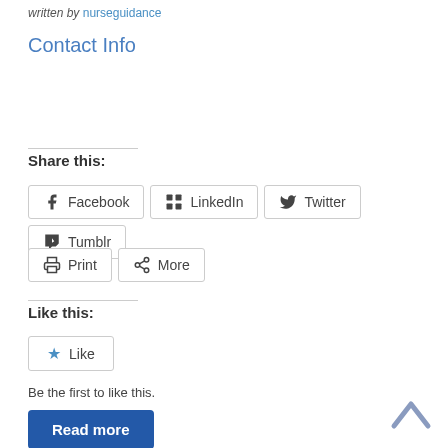written by nurseguidance
Contact Info
Share this:
[Figure (infographic): Social share buttons: Facebook, LinkedIn, Twitter, Tumblr, Print, More]
Like this:
[Figure (infographic): Like button with star icon]
Be the first to like this.
Read more